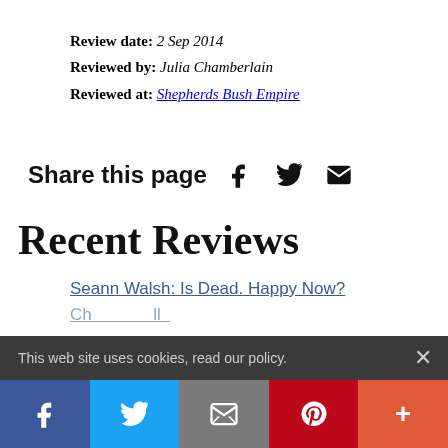Review date: 2 Sep 2014
Reviewed by: Julia Chamberlain
Reviewed at: Shepherds Bush Empire
Share this page
Recent Reviews
Seann Walsh: Is Dead. Happy Now?
This web site uses cookies, read our policy.